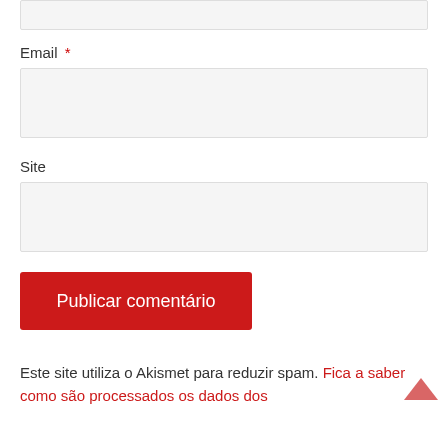Email *
Site
Publicar comentário
Este site utiliza o Akismet para reduzir spam. Fica a saber como são processados os dados dos